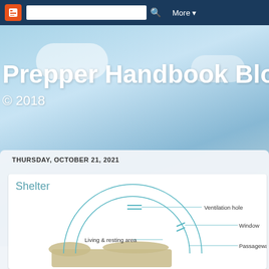Blogger navbar with search and More button
Prepper Handbook Blog
© 2018
THURSDAY, OCTOBER 21, 2021
Shelter
[Figure (illustration): Cross-section schematic diagram of an underground shelter dome showing: Ventilation hole at the top, Window on the right side, Living & resting area in the interior, Passageway & storage at the bottom right entrance. The dome is drawn with teal/cyan arching lines over a sandy ground layer.]